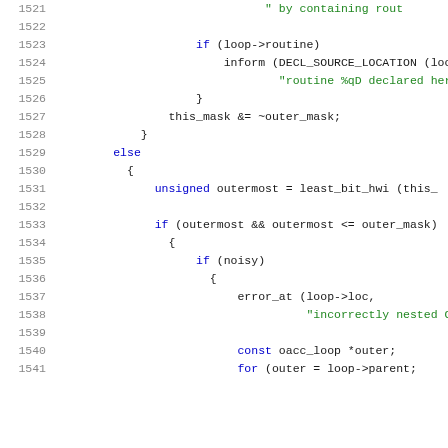[Figure (screenshot): Source code listing showing C code lines 1521-1541, with line numbers in gray on the left, keywords in dark blue, string literals in green, and other code in dark/black monospace font.]